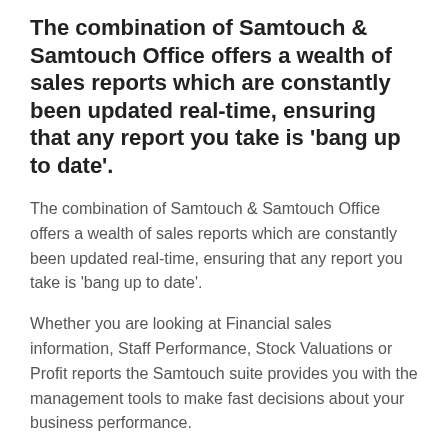The combination of Samtouch & Samtouch Office offers a wealth of sales reports which are constantly been updated real-time, ensuring that any report you take is 'bang up to date'.
The combination of Samtouch & Samtouch Office offers a wealth of sales reports which are constantly been updated real-time, ensuring that any report you take is 'bang up to date'.
Whether you are looking at Financial sales information, Staff Performance, Stock Valuations or Profit reports the Samtouch suite provides you with the management tools to make fast decisions about your business performance.